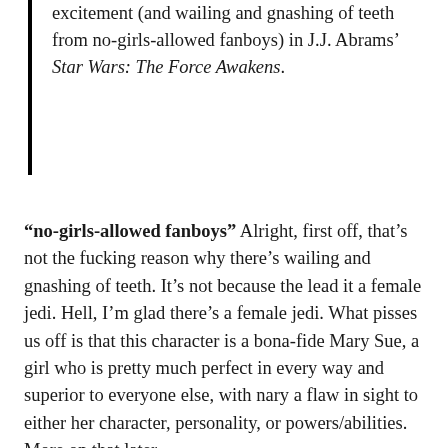excitement (and wailing and gnashing of teeth from no-girls-allowed fanboys) in J.J. Abrams' Star Wars: The Force Awakens.
“no-girls-allowed fanboys” Alright, first off, that’s not the fucking reason why there’s wailing and gnashing of teeth. It’s not because the lead it a female jedi. Hell, I’m glad there’s a female jedi. What pisses us off is that this character is a bona-fide Mary Sue, a girl who is pretty much perfect in every way and superior to everyone else, with nary a flaw in sight to either her character, personality, or powers/abilities. More on that later.